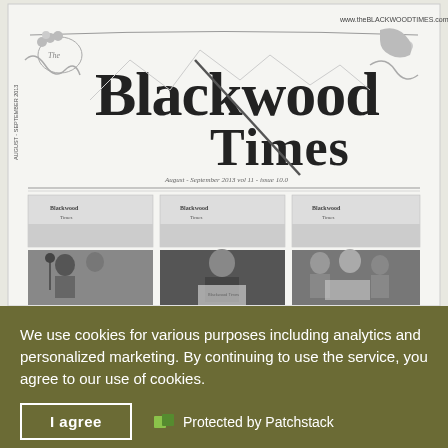[Figure (screenshot): Screenshot of The Blackwood Times newspaper website. The masthead shows 'THE Blackwood Times' in ornate vintage typography with decorative scroll elements. Below the masthead are three small thumbnail images of previous issues labeled 'Blackwood Times', followed by three photographs showing groups of people reading the newspaper. The website URL www.theBLACKWOODTIMES.com.au is visible in the top right.]
We use cookies for various purposes including analytics and personalized marketing. By continuing to use the service, you agree to our use of cookies.
I agree
Protected by Patchstack